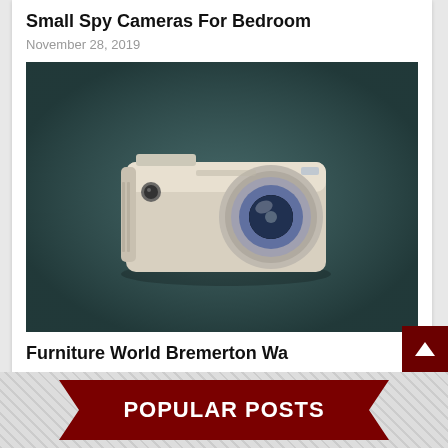Small Spy Cameras For Bedroom
November 28, 2019
[Figure (photo): Blurred image of a small white compact digital camera on a dark teal background]
Furniture World Bremerton Wa
November 28, 2019
POPULAR POSTS